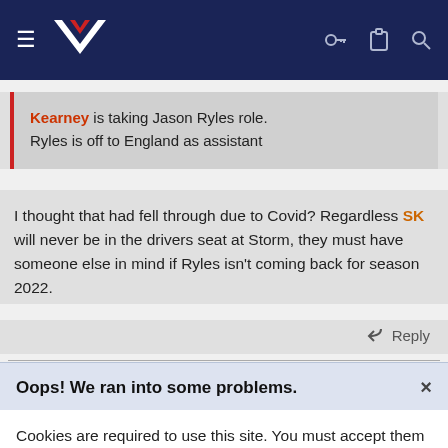[Figure (screenshot): Navigation bar with hamburger menu, NZ Warriors logo, and icons for key, clipboard, and search on dark navy background]
Kearney is taking Jason Ryles role. Ryles is off to England as assistant
I thought that had fell through due to Covid? Regardless SK will never be in the drivers seat at Storm, they must have someone else in mind if Ryles isn't coming back for season 2022.
Reply
Navigator
Christchurch Born n bred white bait fed. Contributor
Oops! We ran into some problems.
Cookies are required to use this site. You must accept them to continue using the site.